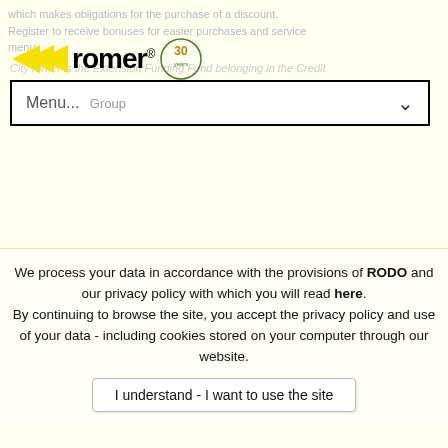which makes obligations for the purchase of a discount. Register to receive bonuses for easier purchases and service menu.
[Figure (logo): Romer logo with yellow double-arrow chevrons pointing left, bold text 'romer' with registered trademark, and '30 years' anniversary badge in green]
City romer is the Extension Funding Fund belonging in the Credit
Menu... Group
Legal Taxation
Price lists on the website do not constitute an offer within the meaning of the provisions of the Civil Code.
ROMER reserv...
We process your data in accordance with the provisions of RODO and our privacy policy with which you will read here. By continuing to browse the site, you accept the privacy policy and use of your data - including cookies stored on your computer through our website.
I understand - I want to use the site